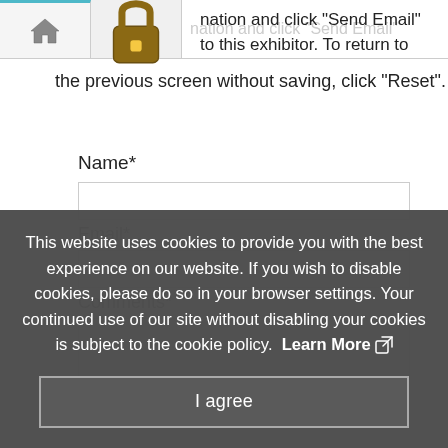[Figure (screenshot): Navigation bar with home icon tab and lock icon tab, partially visible text 'nation and click Send Email' and 'an em' and 'to this exhibitor']
nation and click "Send Email" to this exhibitor. To return to the previous screen without saving, click "Reset".
Name*
Email*
Comments*
This website uses cookies to provide you with the best experience on our website. If you wish to disable cookies, please do so in your browser settings. Your continued use of our site without disabling your cookies is subject to the cookie policy. Learn More
I agree
Type the letters exactly as they appear*